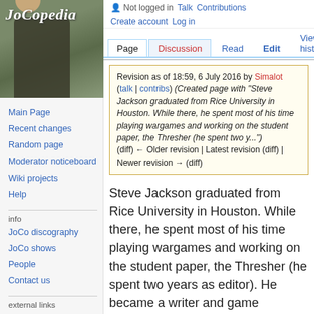[Figure (photo): JoCopedia wiki logo with photo of a person holding a book outdoors]
Main Page
Recent changes
Random page
Moderator noticeboard
Wiki projects
Help
info
JoCo discography
JoCo shows
People
Contact us
external links
Not logged in  Talk  Contributions  Create account  Log in
Page | Discussion | Read | Edit | View history | Search
Steve Jackson
Revision as of 18:59, 6 July 2016 by Simalot (talk | contribs) (Created page with "Steve Jackson graduated from Rice University in Houston. While there, he spent most of his time playing wargames and working on the student paper, the Thresher (he spent two y...") (diff) ← Older revision | Latest revision (diff) | Newer revision → (diff)
Steve Jackson graduated from Rice University in Houston. While there, he spent most of his time playing wargames and working on the student paper, the Thresher (he spent two years as editor). He became a writer and game publisher, proving that college can be very valuable